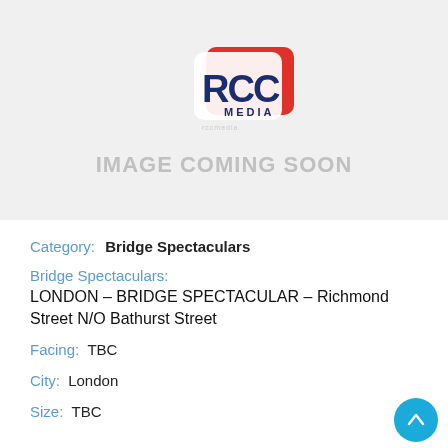[Figure (logo): RCC Media logo with red card shape and blue text, overlaid on a light grey placeholder with text IMAGE COMING SOON]
Category:   Bridge Spectaculars
Bridge Spectaculars:
LONDON – BRIDGE SPECTACULAR – Richmond Street N/O Bathurst Street
Facing:   TBC
City:   London
Size:   TBC